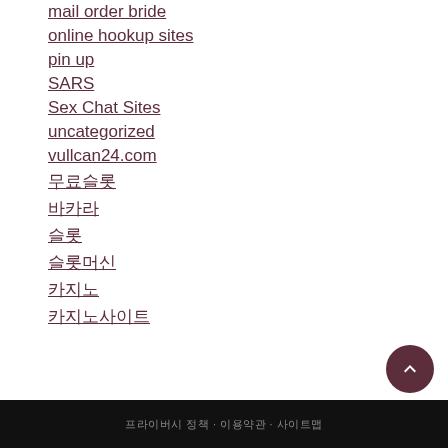mail order bride
online hookup sites
pin up
SARS
Sex Chat Sites
uncategorized
vullcan24.com
무료슬롯
바카라
슬롯
슬롯머신
카지노
카지노사이트
프라이버시 정책 · 이용약관 · 사이트맵